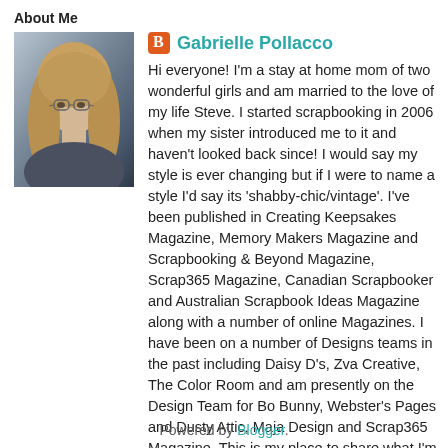About Me
[Figure (photo): Profile photo of Gabrielle Pollacco, a woman with long blonde hair and glasses]
Gabrielle Pollacco
Hi everyone! I'm a stay at home mom of two wonderful girls and am married to the love of my life Steve. I started scrapbooking in 2006 when my sister introduced me to it and haven't looked back since! I would say my style is ever changing but if I were to name a style I'd say its 'shabby-chic/vintage'. I've been published in Creating Keepsakes Magazine, Memory Makers Magazine and Scrapbooking & Beyond Magazine, Scrap365 Magazine, Canadian Scrapbooker and Australian Scrapbook Ideas Magazine along with a number of online Magazines. I have been on a number of Designs teams in the past including Daisy D's, Zva Creative, The Color Room and am presently on the Design Team for Bo Bunny, Webster's Pages and Dusty Attic, Maja Design and Scrap365 Magazine. This is my place to share what I'm working on and some new techniques and products I love.
View my complete profile
Powered by Blogger.